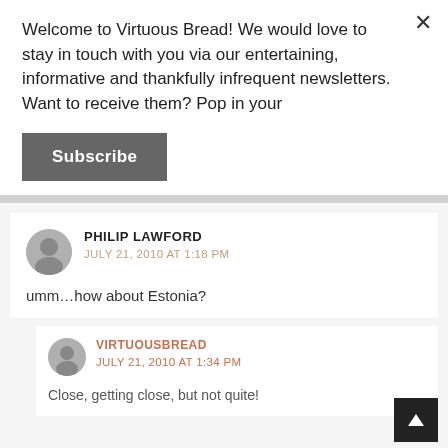Welcome to Virtuous Bread! We would love to stay in touch with you via our entertaining, informative and thankfully infrequent newsletters. Want to receive them? Pop in your
Subscribe
PHILIP LAWFORD
JULY 21, 2010 AT 1:18 PM
umm…how about Estonia?
VIRTUOUSBREAD
JULY 21, 2010 AT 1:34 PM
Close, getting close, but not quite!